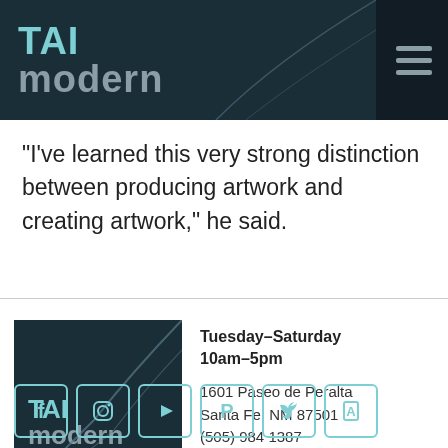TAI modern
“I’ve learned this very strong distinction between producing artwork and creating artwork,” he said.
[Figure (logo): TAI modern logo on dark teal background with decorative arc lines]
Tuesday–Saturday
10am–5pm

1601 Paseo de Peralta
Santa Fe, NM 87501
(505) 984 1387
[Figure (infographic): Social media icons row: Facebook, Instagram, YouTube, Pinterest, Twitter, and one more icon, all in teal outline style]